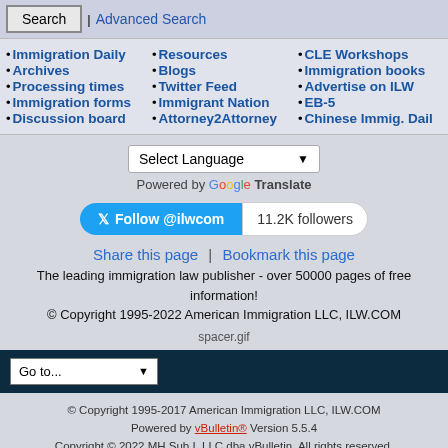Search | Advanced Search
• Immigration Daily
• Archives
• Processing times
• Immigration forms
• Discussion board
• Resources
• Blogs
• Twitter Feed
• Immigrant Nation
• Attorney2Attorney
• CLE Workshops
• Immigration books
• Advertise on ILW
• EB-5
• Chinese Immig. Dail
Select Language
Powered by Google Translate
Follow @ilwcom   11.2K followers
Share this page | Bookmark this page
The leading immigration law publisher - over 50000 pages of free information!
© Copyright 1995-2022 American Immigration LLC, ILW.COM
spacer.gif
Go to...
© Copyright 1995-2017 American Immigration LLC, ILW.COM
Powered by vBulletin® Version 5.5.4
Copyright © 2022 MH Sub I, LLC dba vBulletin. All rights reserved.
All times are GMT-5. This page was generated at 05:22 PM.